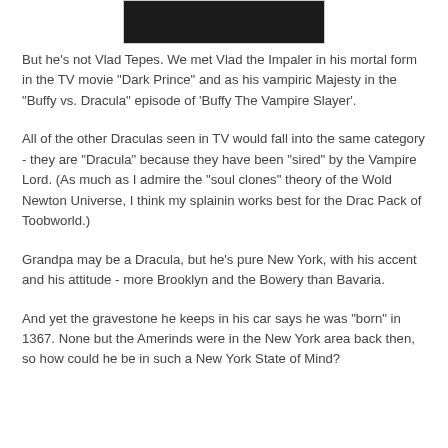[Figure (photo): Dark partially visible image at the top of the page]
But he's not Vlad Tepes. We met Vlad the Impaler in his mortal form in the TV movie "Dark Prince" and as his vampiric Majesty in the "Buffy vs. Dracula" episode of 'Buffy The Vampire Slayer'.
All of the other Draculas seen in TV would fall into the same category - they are "Dracula" because they have been "sired" by the Vampire Lord. (As much as I admire the "soul clones" theory of the Wold Newton Universe, I think my splainin works best for the Drac Pack of Toobworld.)
Grandpa may be a Dracula, but he's pure New York, with his accent and his attitude - more Brooklyn and the Bowery than Bavaria.
And yet the gravestone he keeps in his car says he was "born" in 1367. None but the Amerinds were in the New York area back then, so how could he be in such a New York State of Mind?